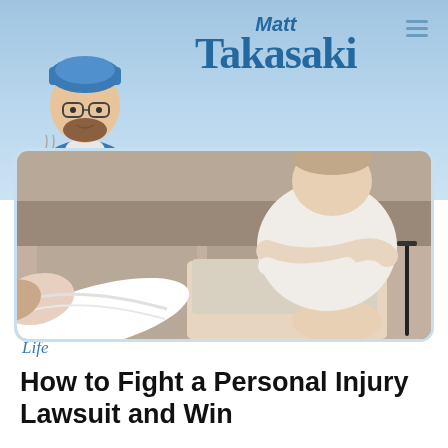[Figure (logo): Matt Takasaki blog logo with illustrated character holding coffee cup and reading a book, blue gradient header background]
[Figure (photo): Person with white leg cast sitting on a couch with arms crossed, crutch visible to the right]
Life
How to Fight a Personal Injury Lawsuit and Win